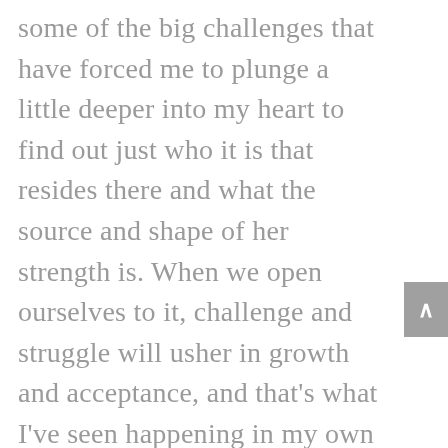some of the big challenges that have forced me to plunge a little deeper into my heart to find out just who it is that resides there and what the source and shape of her strength is. When we open ourselves to it, challenge and struggle will usher in growth and acceptance, and that's what I've seen happening in my own life.

There have been some pretty significant breakthroughs for me in the last two weeks, in my